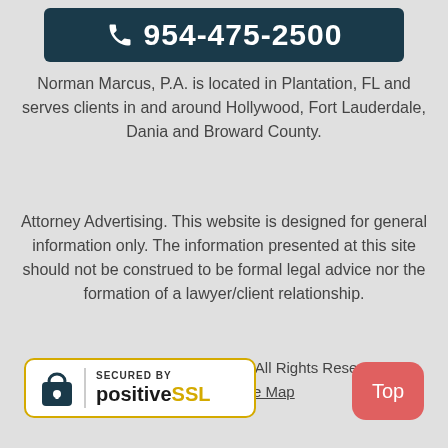[Figure (infographic): Dark navy phone banner with phone icon and number 954-475-2500]
Norman Marcus, P.A. is located in Plantation, FL and serves clients in and around Hollywood, Fort Lauderdale, Dania and Broward County.
Attorney Advertising. This website is designed for general information only. The information presented at this site should not be construed to be formal legal advice nor the formation of a lawyer/client relationship.
© 2019 Norman Marcus, P.A. All Rights Reserved.
Disclaimer | Site Map
[Figure (logo): Secured by PositiveSSL badge with lock icon]
[Figure (other): Red rounded Top button]